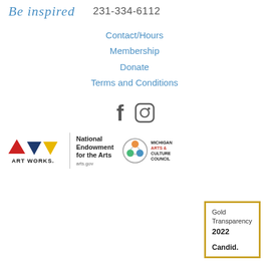Be inspired  231-334-6112
Contact/Hours
Membership
Donate
Terms and Conditions
[Figure (logo): Facebook and Instagram social icons]
[Figure (logo): ART WORKS logo with colored triangles, National Endowment for the Arts logo, Michigan Arts & Culture Council logo]
[Figure (other): Gold Transparency 2022 Candid. badge with gold border]